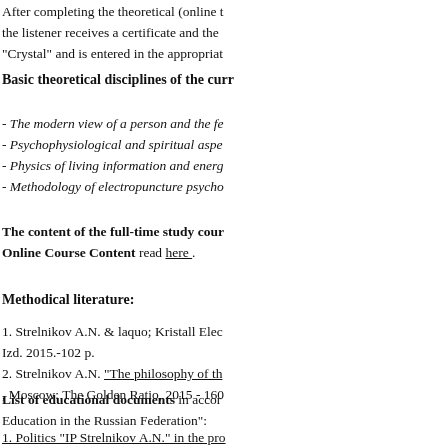After completing the theoretical (online the listener receives a certificate and the "Crystal" and is entered in the appropriat
Basic theoretical disciplines of the curr
- The modern view of a person and the fe
- Psychophysiological and spiritual aspe
- Physics of living information and energ
- Methodology of electropuncture psycho
The content of the full-time study cour Online Course Content read here .
Methodical literature:
1. Strelnikov A.N. & laquo; Kristall Elec Izd. 2015.-102 p.
2. Strelnikov A.N. "The philosophy of th , Moscow: The Golden Ratio, 2015 - 160
List of educational documents in accor Education in the Russian Federation":
1. Politics "IP Strelnikov A.N." in the pro
2. Sample contract